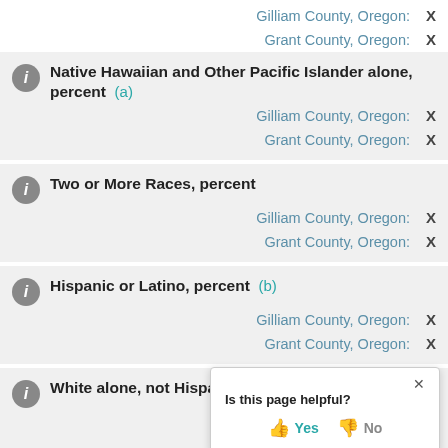Gilliam County, Oregon: X
Grant County, Oregon: X
Native Hawaiian and Other Pacific Islander alone, percent (a)
Gilliam County, Oregon: X
Grant County, Oregon: X
Two or More Races, percent
Gilliam County, Oregon: X
Grant County, Oregon: X
Hispanic or Latino, percent (b)
Gilliam County, Oregon: X
Grant County, Oregon: X
White alone, not Hispanic or L...
Gilliam County, Oregon: X
Is this page helpful? Yes No